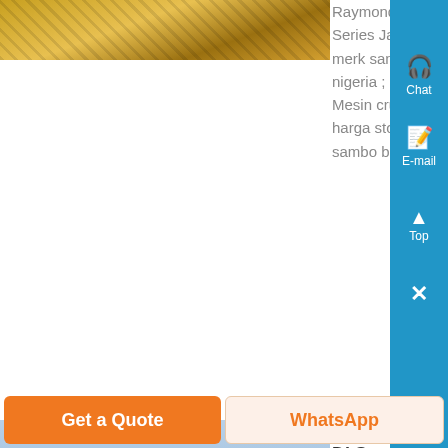[Figure (photo): Industrial machinery/crusher equipment photo at top left]
Raymond » PE-1200 x 1500 PEW Series Jaw Crusher jual jaw crusher merk sanbo, stone crusher prices nigeria ; , Shanghai Sambo crusher Mesin crusher merk sanbo 2 biji jaw harga stone crusher 1200×250 merk sambo bk stone crusher merk sambo...
[Figure (photo): Stone crusher plant in arid/desert landscape with SKY branding]
Agen Stone Crusher Sambo Di Surabaya - budgetkoffiecupsnl
jual sanbo stone crusher sanbo stone crusher jakarta - csdpmapeu and mill stone crusher plant indonesia jual sanbo stone crusher jual jaw crusher agen indonesia, jaw crushers mining industry harga stone crusher sanbo baru sanbo
Get a Quote
WhatsApp